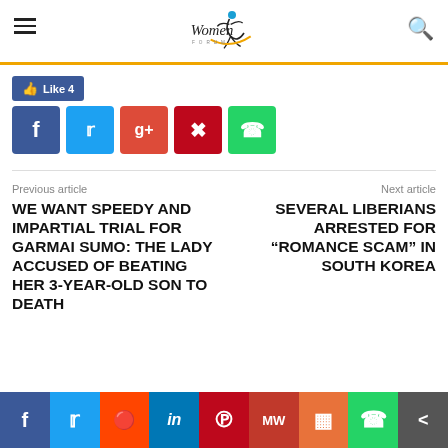Women Forum logo with hamburger menu and search icon
[Figure (logo): Women Forum logo with dancing figure silhouette]
Like 4
[Figure (infographic): Social share buttons: Facebook, Twitter, Google+, Pinterest, WhatsApp]
Previous article
WE WANT SPEEDY AND IMPARTIAL TRIAL FOR GARMAI SUMO: THE LADY ACCUSED OF BEATING HER 3-YEAR-OLD SON TO DEATH
Next article
SEVERAL LIBERIANS ARRESTED FOR “ROMANCE SCAM” IN SOUTH KOREA
Social share bar: Facebook, Twitter, Reddit, LinkedIn, Pinterest, MeWe, Mix, WhatsApp, Share